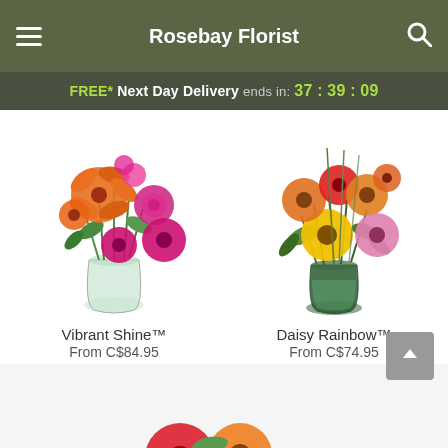Rosebay Florist
FREE* Next Day Delivery ends in: 37 : 39 : 09
[Figure (photo): Vibrant flower bouquet in a clear vase with orange lilies, pink roses, and magenta gerberas]
Vibrant Shine™
From C$84.95
[Figure (photo): Colorful daisy bouquet in a dark green vase with red, orange, yellow, and pink gerbera daisies]
Daisy Rainbow™
From C$74.95
[Figure (photo): Partial view of flower arrangement at bottom of page]